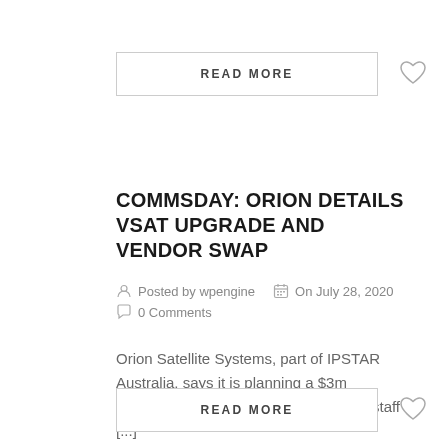READ MORE
COMMSDAY: ORION DETAILS VSAT UPGRADE AND VENDOR SWAP
Posted by wpengine   On July 28, 2020   0 Comments
Orion Satellite Systems, part of IPSTAR Australia, says it is planning a $3m investment in its network, product and staff [...]
READ MORE